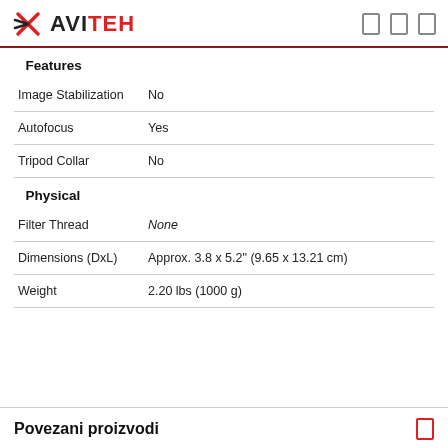AVITEH
Features
| Property | Value |
| --- | --- |
| Image Stabilization | No |
| Autofocus | Yes |
| Tripod Collar | No |
Physical
| Property | Value |
| --- | --- |
| Filter Thread | None |
| Dimensions (DxL) | Approx. 3.8 x 5.2" (9.65 x 13.21 cm) |
| Weight | 2.20 lbs (1000 g) |
Povezani proizvodi